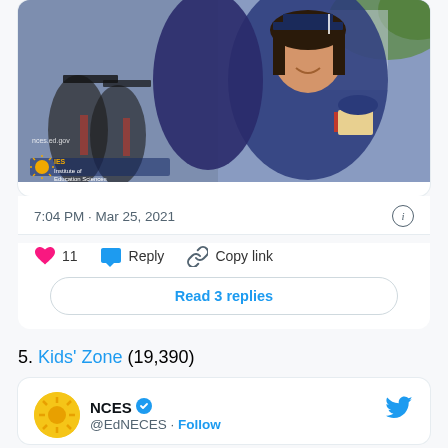[Figure (photo): Graduation photo showing a young woman in blue cap and gown holding a diploma and smiling/laughing, hugging someone. Institute of Education Sciences logo visible in upper left. nces.ed.gov watermark at bottom left.]
7:04 PM · Mar 25, 2021
11  Reply  Copy link
Read 3 replies
5. Kids' Zone (19,390)
NCES @EdNCES · Follow